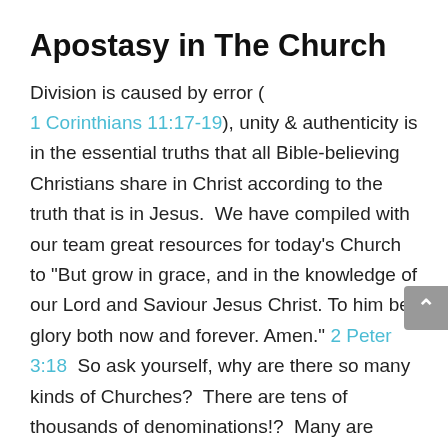Apostasy in The Church
Division is caused by error ( 1 Corinthians 11:17-19), unity & authenticity is in the essential truths that all Bible-believing Christians share in Christ according to the truth that is in Jesus.  We have compiled with our team great resources for today's Church to "But grow in grace, and in the knowledge of our Lord and Saviour Jesus Christ. To him be glory both now and forever. Amen." 2 Peter 3:18  So ask yourself, why are there so many kinds of Churches?  There are tens of thousands of denominations!?  Many are NOT Christ-Centered, but Man-Centered.  What we are not is a prophet, but Amos37 sees